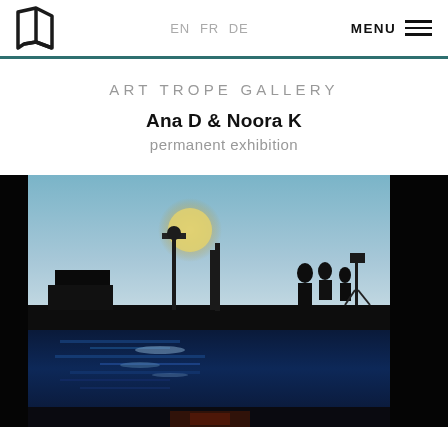Art Trope Gallery — EN FR DE | MENU
ART TROPE GALLERY
Ana D & Noora K
permanent exhibition
[Figure (photo): Dark artistic photograph showing a film or stage set with equipment, lighting rigs, silhouetted figures, and a pool of water with blue reflections, against a sky with a large round light source.]